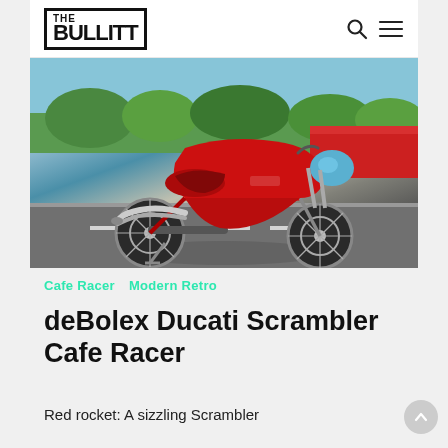THE BULLITT
[Figure (photo): Red Ducati Scrambler cafe racer motorcycle parked on a race track, photographed from the left side. The bike features a red fairing, chrome exhaust, a blue headlight bubble, and spoke wheels.]
Cafe Racer   Modern Retro
deBolex Ducati Scrambler Cafe Racer
Red rocket: A sizzling Scrambler